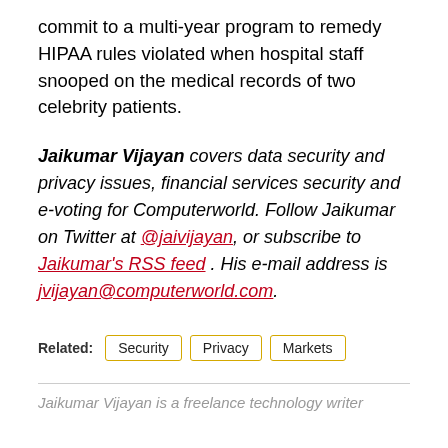commit to a multi-year program to remedy HIPAA rules violated when hospital staff snooped on the medical records of two celebrity patients.
Jaikumar Vijayan covers data security and privacy issues, financial services security and e-voting for Computerworld. Follow Jaikumar on Twitter at @jaivijayan, or subscribe to Jaikumar's RSS feed . His e-mail address is jvijayan@computerworld.com.
Related: Security | Privacy | Markets
Jaikumar Vijayan is a freelance technology writer